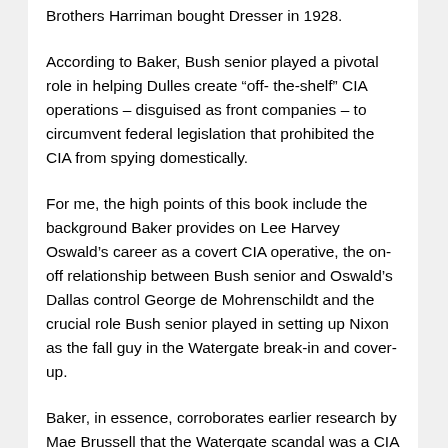Brothers Harriman bought Dresser in 1928.
According to Baker, Bush senior played a pivotal role in helping Dulles create “off- the-shelf” CIA operations – disguised as front companies – to circumvent federal legislation that prohibited the CIA from spying domestically.
For me, the high points of this book include the background Baker provides on Lee Harvey Oswald’s career as a covert CIA operative, the on-off relationship between Bush senior and Oswald’s Dallas control George de Mohrenschildt and the crucial role Bush senior played in setting up Nixon as the fall guy in the Watergate break-in and cover-up.
Baker, in essence, corroborates earlier research by Mae Brussell that the Watergate scandal was a CIA coup to remove Nixon from office.
A third of the book covers the hidden history of George W Bush, including his early alcohol and cocaine abuse, the